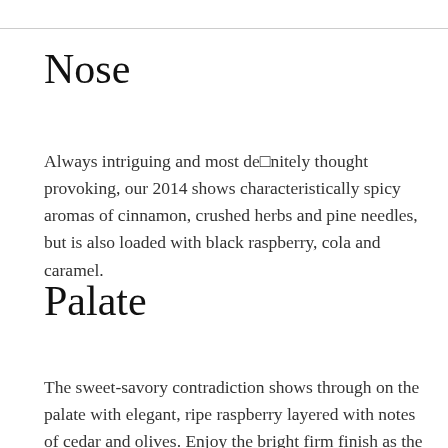Nose
Always intriguing and most definitely thought provoking, our 2014 shows characteristically spicy aromas of cinnamon, crushed herbs and pine needles, but is also loaded with black raspberry, cola and caramel.
Palate
The sweet-savory contradiction shows through on the palate with elegant, ripe raspberry layered with notes of cedar and olives. Enjoy the bright firm finish as the tannins grip at the end.